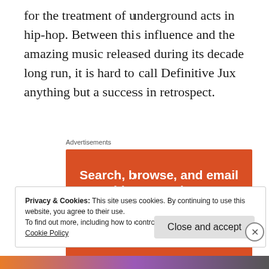for the treatment of underground acts in hip-hop. Between this influence and the amazing music released during its decade long run, it is hard to call Definitive Jux anything but a success in retrospect.
Advertisements
[Figure (infographic): Orange advertisement banner reading 'Search, browse, and email with more privacy. All in One Free App']
Privacy & Cookies: This site uses cookies. By continuing to use this website, you agree to their use.
To find out more, including how to control cookies, see here:
Cookie Policy
Close and accept
[Figure (infographic): Colorful bottom strip banner]